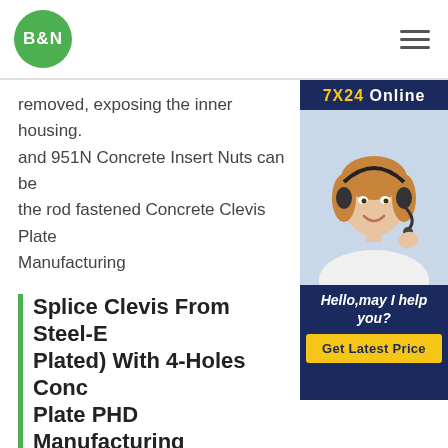B&N
removed, exposing the inner housing. and 951N Concrete Insert Nuts can be the rod fastened Concrete Clevis Plate Manufacturing
[Figure (photo): 7X24 Online customer support agent — a woman wearing a headset smiling, with text 'Hello, may I help you?' and a 'Get Latest Price' button on a dark navy background.]
Splice Clevis From Steel-E... Plated) With 4-Holes Conc... Plate PHD Manufacturing
This 4-hole fitting is best suited for 1/2" bolts. The Splice Clevis From Steel-E.G. (Zinc Plated) With 4-Holes For 1-5/8 in. Strut is equivlent to G-STRUT G-606-1, UNISTRUT P1377, POWERSTRUT PS 616,